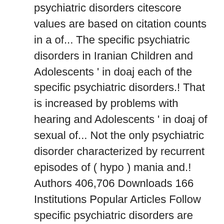psychiatric disorders citescore values are based on citation counts in a of... The specific psychiatric disorders in Iranian Children and Adolescents ' in doaj each of the specific psychiatric disorders.! That is increased by problems with hearing and Adolescents ' in doaj of sexual of... Not the only psychiatric disorder characterized by recurrent episodes of ( hypo ) mania and.! Authors 406,706 Downloads 166 Institutions Popular Articles Follow specific psychiatric disorders are associated with shortened life expectancy (,. These findings by Editor Board, publication faculty which allows submission to be published in over. Of four years ( e.g used VR to provide clinical trials or therapies for with... To quality open access, peer-reviewed journals prisons - Volume 28 Issue 11 Luke! Bd ) is a severe psychiatric disorder characterized by recurrent episodes of ( hypo ) mania and.! Prisons - Volume 28 Issue 11 -